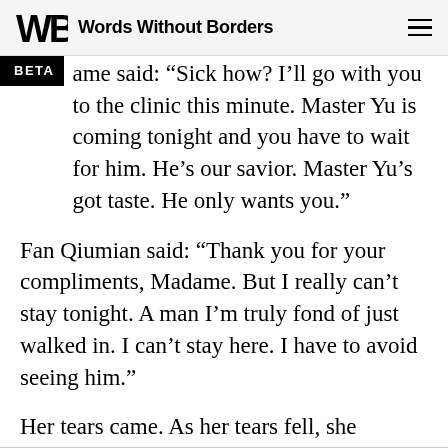Words Without Borders
BETA
ame said: “Sick how? I’ll go with you to the clinic this minute. Master Yu is coming tonight and you have to wait for him. He’s our savior. Master Yu’s got taste. He only wants you.”
Fan Qiumian said: “Thank you for your compliments, Madame. But I really can’t stay tonight. A man I’m truly fond of just walked in. I can’t stay here. I have to avoid seeing him.”
Her tears came. As her tears fell, she thought: To have done all this for a man she hadn’t known at nd yet she felt no regret.